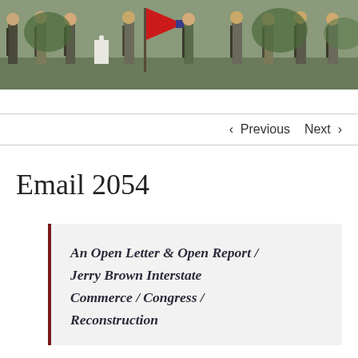[Figure (photo): A group of people in historical Civil War era clothing standing outdoors with rifles and a red Confederate flag, near a white grave marker.]
< Previous   Next >
Email 2054
An Open Letter & Open Report / Jerry Brown Interstate Commerce / Congress / Reconstruction